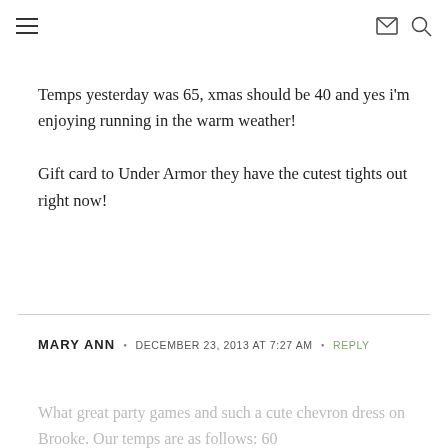≡  ✉ 🔍
Temps yesterday was 65, xmas should be 40 and yes i'm enjoying running in the warm weather!

Gift card to Under Armor they have the cutest tights out right now!
MARY ANN • DECEMBER 23, 2013 AT 7:27 AM • REPLY
What great party games and such a cute chevron dress on Brooke. Our temps are as follows: 60